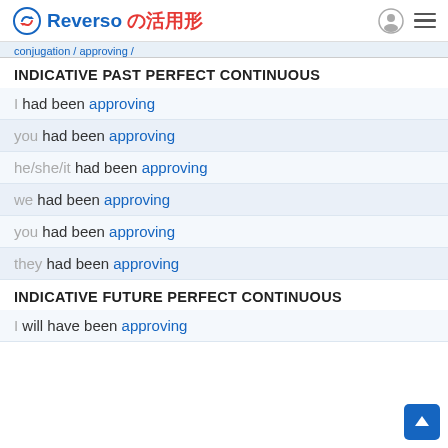Reverso の活用形
conjugation / approving /
INDICATIVE PAST PERFECT CONTINUOUS
I had been approving
you had been approving
he/she/it had been approving
we had been approving
you had been approving
they had been approving
INDICATIVE FUTURE PERFECT CONTINUOUS
I will have been approving